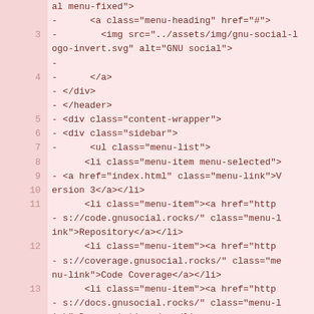[Figure (screenshot): Code diff view showing HTML source code lines 3-15 with line numbers on pink background. Removed lines marked with '-'.]
al menu-fixed">
3  -      <a class="menu-heading" href="#">
4  -        <img src="../assets/img/gnu-social-logo-invert.svg" alt="GNU social">
   -
5  -      </a>
6  - </div>
7  - </header>
8  - <div class="content-wrapper">
9  - <div class="sidebar">
10 -      <ul class="menu-list">
11       <li class="menu-item menu-selected">
   - <a href="index.html" class="menu-link">Version 3</a></li>
12       <li class="menu-item"><a href="https://code.gnusocial.rocks/" class="menu-link">Repository</a></li>
13       <li class="menu-item"><a href="https://coverage.gnusocial.rocks/" class="menu-link">Code Coverage</a></li>
14       <li class="menu-item"><a href="https://docs.gnusocial.rocks/" class="menu-link">Documentation</a></li>
15       <li class="menu-item"><a href="http